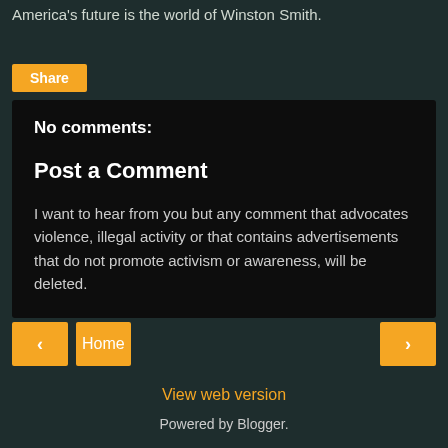America's future is the world of Winston Smith.
Share
No comments:
Post a Comment
I want to hear from you but any comment that advocates violence, illegal activity or that contains advertisements that do not promote activism or awareness, will be deleted.
‹
Home
›
View web version
Powered by Blogger.